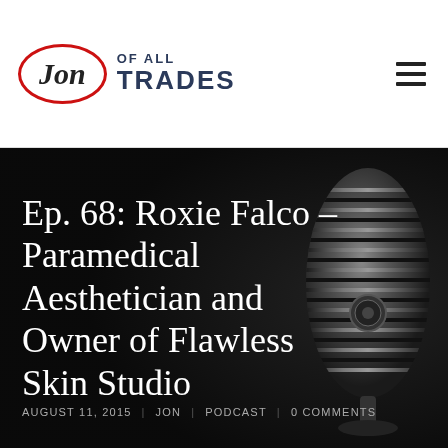[Figure (logo): Jon of All Trades logo: oval with italic 'Jon' inside, next to 'OF ALL TRADES' text in bold dark navy]
[Figure (photo): Dark hero banner with vintage microphone on the right side against black background]
Ep. 68: Roxie Falco – Paramedical Aesthetician and Owner of Flawless Skin Studio
AUGUST 11, 2015  |  JON  |  PODCAST  |  0 COMMENTS